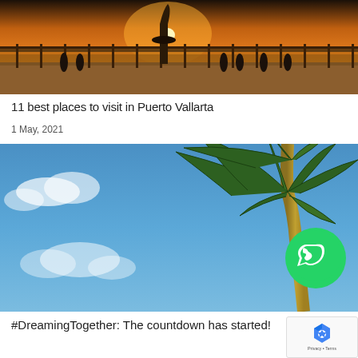[Figure (photo): Sunset at Puerto Vallarta boardwalk with a sculpture and people watching the sunset over the ocean]
11 best places to visit in Puerto Vallarta
1 May, 2021
[Figure (photo): Looking up at palm tree fronds against a blue sky, with WhatsApp icon overlay]
#DreamingTogether: The countdown has started!